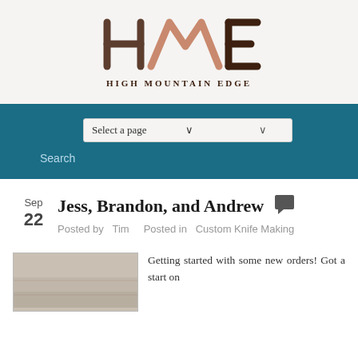[Figure (logo): High Mountain Edge logo with stylized HME letters and mountain peak design, text reads HIGH MOUNTAIN EDGE]
[Figure (screenshot): Navigation bar with 'Select a page' dropdown and 'Search' link on teal background]
Jess, Brandon, and Andrew
Posted by  Tim     Posted in  Custom Knife Making
Getting started with some new orders! Got a start on